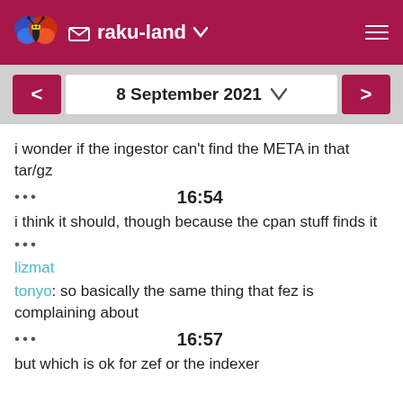raku-land
8 September 2021
i wonder if the ingestor can't find the META in that tar/gz
16:54
i think it should, though because the cpan stuff finds it
lizmat
tonyo: so basically the same thing that fez is complaining about
16:57
but which is ok for zef or the indexer